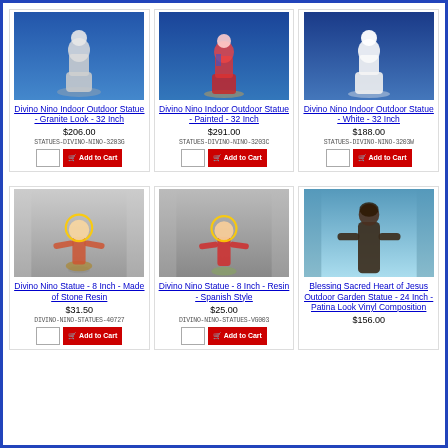[Figure (photo): Divino Nino Indoor Outdoor Statue - Granite Look - 32 Inch]
[Figure (photo): Divino Nino Indoor Outdoor Statue - Painted - 32 Inch]
[Figure (photo): Divino Nino Indoor Outdoor Statue - White - 32 Inch]
Divino Nino Indoor Outdoor Statue - Granite Look - 32 Inch
$206.00
STATUES-DIVINO-NINO-3203G
Divino Nino Indoor Outdoor Statue - Painted - 32 Inch
$291.00
STATUES-DIVINO-NINO-3203C
Divino Nino Indoor Outdoor Statue - White - 32 Inch
$188.00
STATUES-DIVINO-NINO-3203W
[Figure (photo): Divino Nino Statue - 8 Inch - Made of Stone Resin]
[Figure (photo): Divino Nino Statue - 8 Inch - Resin - Spanish Style]
[Figure (photo): Blessing Sacred Heart of Jesus Outdoor Garden Statue - 24 Inch - Patina Look Vinyl Composition]
Divino Nino Statue - 8 Inch - Made of Stone Resin
$31.50
DIVINO-NINO-STATUES-40727
Divino Nino Statue - 8 Inch - Resin - Spanish Style
$25.00
DIVINO-NINO-STATUES-VG003
Blessing Sacred Heart of Jesus Outdoor Garden Statue - 24 Inch - Patina Look Vinyl Composition
$156.00